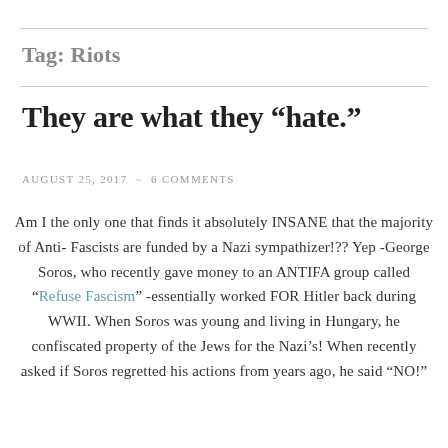Tag: Riots
They are what they “hate.”
AUGUST 25, 2017 ~ 6 COMMENTS
Am I the only one that finds it absolutely INSANE that the majority of Anti- Fascists are funded by a Nazi sympathizer!?? Yep -George Soros, who recently gave money to an ANTIFA group called “Refuse Fascism” -essentially worked FOR Hitler back during WWII. When Soros was young and living in Hungary, he confiscated property of the Jews for the Nazi’s! When recently asked if Soros regretted his actions from years ago, he said “NO!”